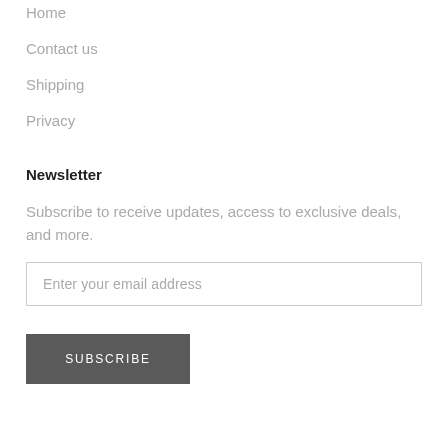Home
Contact us
Shipping
Privacy
Newsletter
Subscribe to receive updates, access to exclusive deals, and more.
Enter your email address
SUBSCRIBE